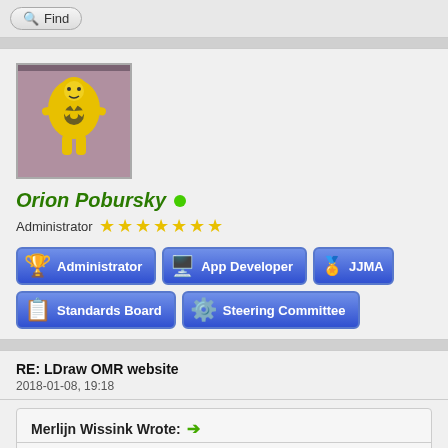[Figure (screenshot): Forum page screenshot showing user profile for Orion Pobursky with avatar, role badges, and post thread]
Find
[Figure (photo): Avatar image showing a yellow LEGO hazmat figure with radiation symbol]
Orion Pobursky (online)
Administrator ★★★★★★★
Administrator
App Developer
JJMA
Standards Board
Steering Committee
RE: LDraw OMR website
2018-01-08, 19:18
Merlijn Wissink Wrote: →
Willy Tschager Wrote: →